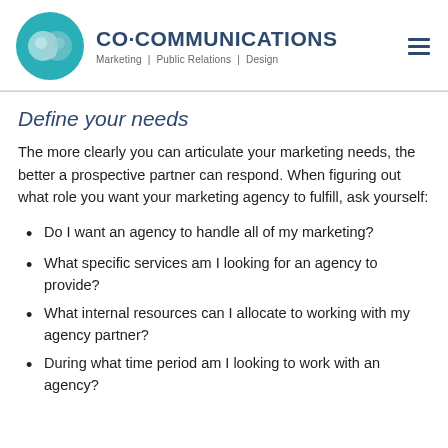CO·COMMUNICATIONS — Marketing | Public Relations | Design
Define your needs
The more clearly you can articulate your marketing needs, the better a prospective partner can respond. When figuring out what role you want your marketing agency to fulfill, ask yourself:
Do I want an agency to handle all of my marketing?
What specific services am I looking for an agency to provide?
What internal resources can I allocate to working with my agency partner?
During what time period am I looking to work with an agency?